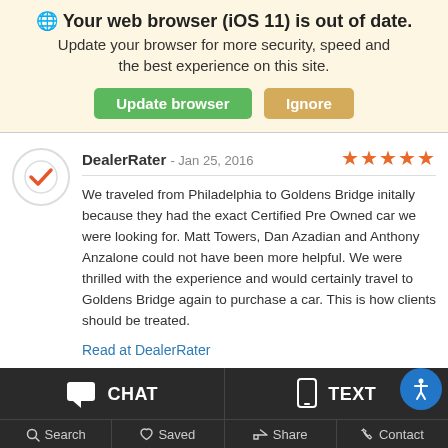🌐 Your web browser (iOS 11) is out of date. Update your browser for more security, speed and the best experience on this site.
Update browser | Ignore
DealerRater - Jan 25, 2016  ★★★★★
We traveled from Philadelphia to Goldens Bridge initally because they had the exact Certified Pre Owned car we were looking for. Matt Towers, Dan Azadian and Anthony Anzalone could not have been more helpful. We were thrilled with the experience and would certainly travel to Goldens Bridge again to purchase a car. This is how clients should be treated.
Read at DealerRater
CHAT | TEXT | Search | Saved | Share | Contact